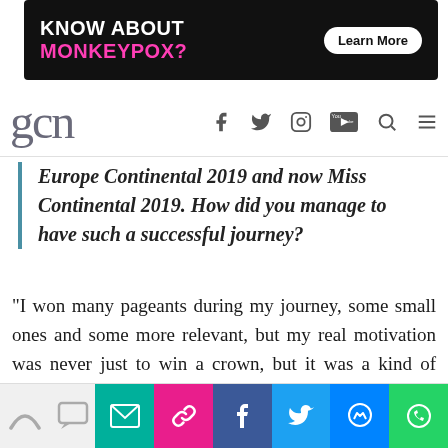[Figure (other): Advertisement banner: black background with text 'KNOW ABOUT MONKEYPOX?' where 'MONKEYPOX?' is in pink/magenta, and a white pill-shaped button reading 'Learn More']
[Figure (other): GCN website navigation bar with 'gcn' logo in grey on left, and social media icons (Facebook, Twitter, Instagram, YouTube) plus search and menu icons on right]
Europe Continental 2019 and now Miss Continental 2019. How did you manage to have such a successful journey?
“I won many pageants during my journey, some small ones and some more relevant, but my real motivation was never just to win a crown, but it was a kind of school to myself, to be a better professional and keep doing what I love.
[Figure (other): Social media share bar at the bottom with icons: rainbow/arc icon, comment icon, email (teal), link (pink), Facebook (dark blue), Twitter (light blue), Messenger (blue), WhatsApp (green)]